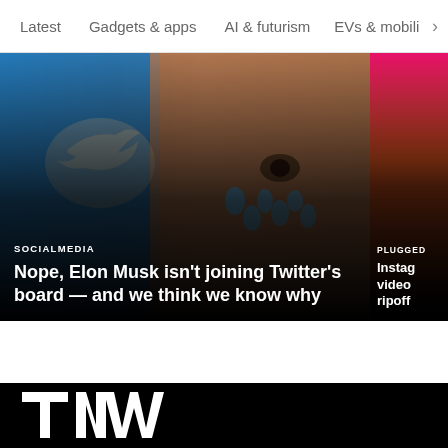Latest   Gadgets & apps   AI & futurism   EVs & mobili  >
[Figure (screenshot): Main article card: photo of Elon Musk with blue tear-drop emojis on face and a faded Twitter bird logo on the left. Dark gradient overlay at bottom with article text.]
SOCIALMEDIA
Nope, Elon Musk isn't joining Twitter's board — and we think we know why
[Figure (screenshot): Partial side article card showing a pink/orange/brown gradient or image (partially visible) with PLUGGED category label and partial Instagram-related headline.]
PLUGGED
Instag video ripoff
[Figure (logo): TNW logo in white bold letters on black background]